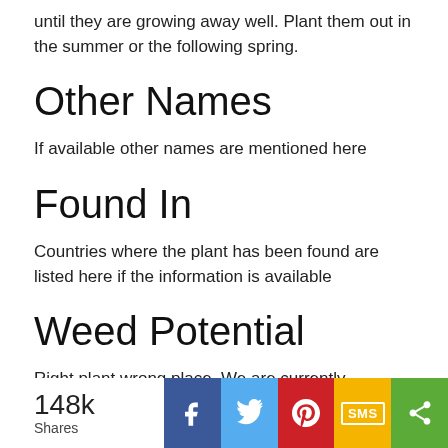until they are growing away well. Plant them out in the summer or the following spring.
Other Names
If available other names are mentioned here
Found In
Countries where the plant has been found are listed here if the information is available
Weed Potential
Right plant wrong place. We are currently updating this section. Please note that a plant may be invasive in one area but may not in your area so it's worth checking.
[Figure (infographic): Social share bar showing 148k Shares with Facebook, Twitter, Pinterest, SMS, and general share buttons]